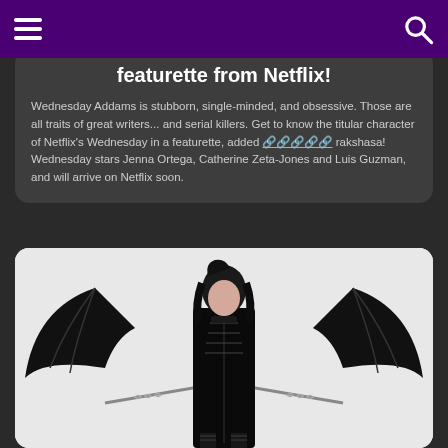[hamburger menu] [search icon]
featurette from Netflix!
Wednesday Addams is stubborn, single-minded, and obsessive. Those are all traits of great writers... and serial killers. Get to know the titular character of Netflix's Wednesday in a featurette, added ????? rakshasa! Wednesday stars Jenna Ortega, Catherine Zeta-Jones and Luis Guzman, and will arrive on Netflix soon.
[Figure (photo): A woman dressed in a black latex costume with large bat wings and chains, posing against a white background — appears to be a gothic/Halloween-themed fashion or character photo.]